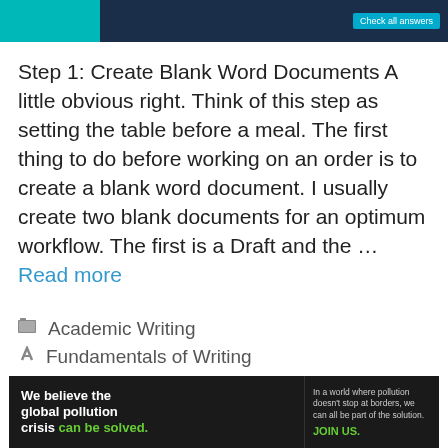[Figure (screenshot): Website header navigation bar with dark navy background and teal accent]
Step 1: Create Blank Word Documents A little obvious right. Think of this step as setting the table before a meal. The first thing to do before working on an order is to create a blank word document. I usually create two blank documents for an optimum workflow. The first is a Draft and the … Read more
Academic Writing
Fundamentals of Writing
Leave a comment
[Figure (screenshot): Pure Earth advertisement banner: 'We believe the global pollution crisis can be solved.' with Pure Earth logo]